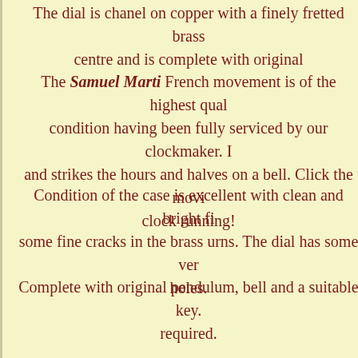The dial is chanel on copper with a finely fretted brass centre and is complete with original
The Samuel Marti French movement is of the highest quality condition having been fully serviced by our clockmaker. It and strikes the hours and halves on a bell. Click the movie clock running!
Condition of the case is excellent with clean and bright fi some fine cracks in the brass urns. The dial has some ver holes.
Complete with original pendulum, bell and a suitable key. required.